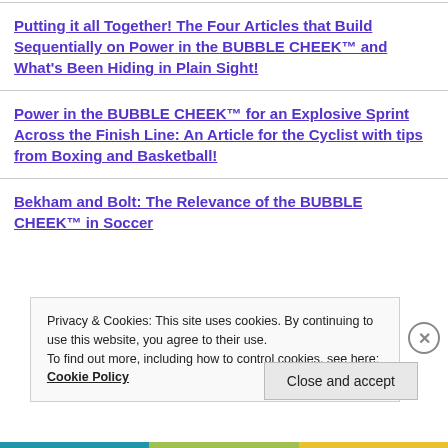Putting it all Together! The Four Articles that Build Sequentially on Power in the BUBBLE CHEEK™ and What's Been Hiding in Plain Sight!
Power in the BUBBLE CHEEK™ for an Explosive Sprint Across the Finish Line: An Article for the Cyclist with tips from Boxing and Basketball!
Bekham and Bolt: The Relevance of the BUBBLE CHEEK™ in Soccer
Privacy & Cookies: This site uses cookies. By continuing to use this website, you agree to their use.
To find out more, including how to control cookies, see here: Cookie Policy
Close and accept